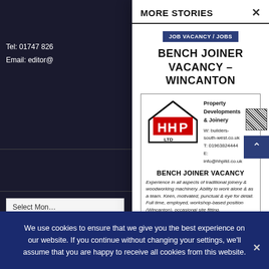Tel: 01747 826...
Email: editor@...
Select Month
Privacy Policy
Disclaimer
Advertising Te...
MORE STORIES  ×
JOB VACANCY / JOBS
BENCH JOINER VACANCY – WINCANTON
[Figure (logo): HHP LTD logo — house outline with red letters HHP inside, LTD below]
Property Developments & Joinery
W: builders-south-west.co.uk
T: 01963824444
E: info@hhpltd.co.uk
BENCH JOINER VACANCY
Experience in all aspects of traditional joinery & woodworking machinery. Ability to work alone & as a team. Keen, motivated, punctual & eye for detail.
Full time, employed, workshop-based position (Wincanton), occasional site fitting.
Paid weekly (pay dependant on experience).
We use cookies to ensure that we give you the best experience on our website. If you continue without changing your settings, we'll assume that you are happy to receive all cookies from this website.